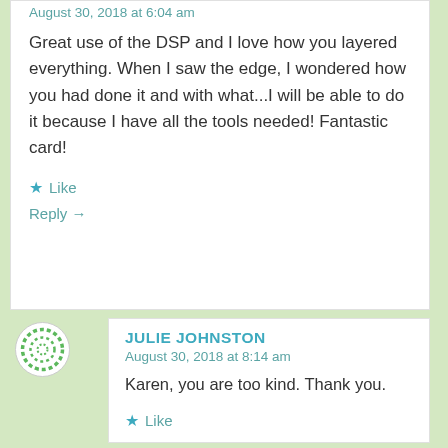August 30, 2018 at 6:04 am
Great use of the DSP and I love how you layered everything. When I saw the edge, I wondered how you had done it and with what...I will be able to do it because I have all the tools needed! Fantastic card!
Like
Reply →
JULIE JOHNSTON
August 30, 2018 at 8:14 am
Karen, you are too kind. Thank you.
Like